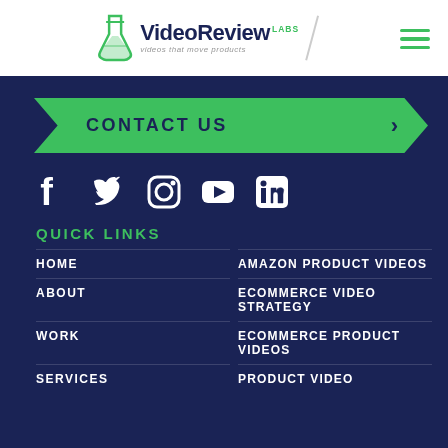VideoReview LABS — videos that move products
CONTACT US
[Figure (infographic): Social media icons: Facebook, Twitter, Instagram, YouTube, LinkedIn]
QUICK LINKS
HOME
AMAZON PRODUCT VIDEOS
ABOUT
ECOMMERCE VIDEO STRATEGY
WORK
ECOMMERCE PRODUCT VIDEOS
SERVICES
PRODUCT VIDEO